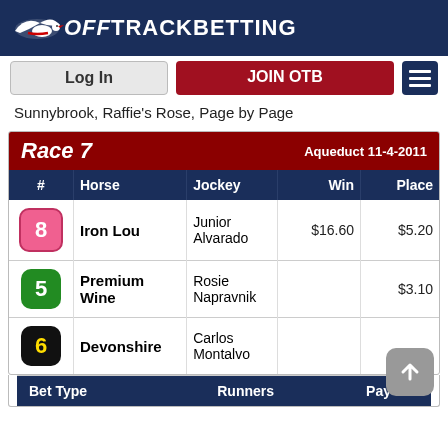[Figure (logo): OffTrackBetting logo with bird/horse graphic and text]
Log In | JOIN OTB
Sunnybrook, Raffie's Rose, Page by Page
| Race 7 | Aqueduct 11-4-2011 |  |  |  |
| --- | --- | --- | --- | --- |
| # | Horse | Jockey | Win | Place |
| 8 | Iron Lou | Junior Alvarado | $16.60 | $5.20 |
| 5 | Premium Wine | Rosie Napravnik |  | $3.10 |
| 6 | Devonshire | Carlos Montalvo |  |  |
| Bet Type | Runners | Pay Out |
| --- | --- | --- |